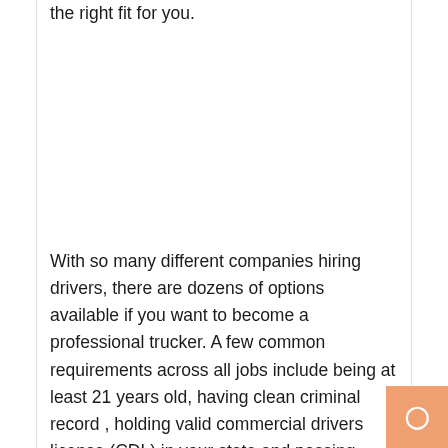the right fit for you.
With so many different companies hiring drivers, there are dozens of options available if you want to become a professional trucker. A few common requirements across all jobs include being at least 21 years old, having clean criminal record , holding valid commercial drivers license (CDL) in your state and passing